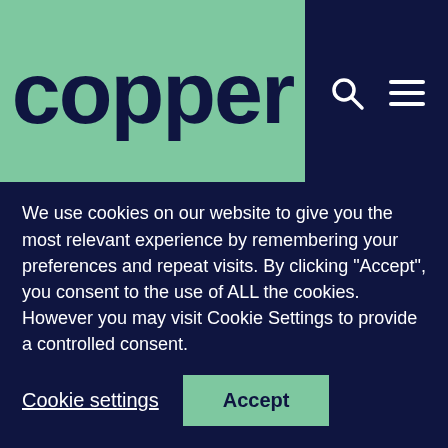[Figure (logo): Copper logo in dark navy text on sage green background]
How the infrastructure and development sectors can build on public appetite for a
We use cookies on our website to give you the most relevant experience by remembering your preferences and repeat visits. By clicking “Accept”, you consent to the use of ALL the cookies. However you may visit Cookie Settings to provide a controlled consent.
Cookie settings    Accept